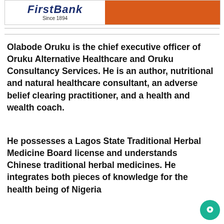[Figure (logo): FirstBank Since 1894 banner with orange block on right]
Olabode Oruku is the chief executive officer of Oruku Alternative Healthcare and Oruku Consultancy Services. He is an author, nutritional and natural healthcare consultant, an adverse belief clearing practitioner, and a health and wealth coach.
He possesses a Lagos State Traditional Herbal Medicine Board license and understands Chinese traditional herbal medicines. He integrates both pieces of knowledge for the health being of Nigeria